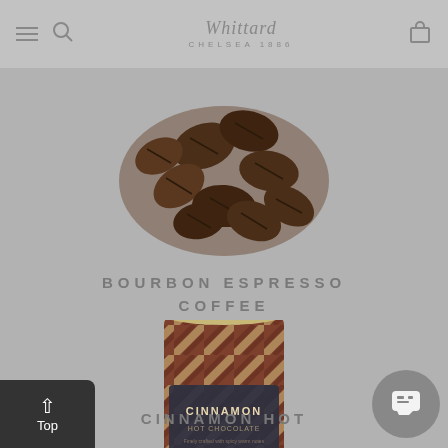Whittard Chelsea 1886
[Figure (photo): Coffee beans scattered, viewed from above, product image for Bourbon Espresso Coffee]
BOURBON ESPRESSO COFFEE
[Figure (photo): Cylindrical tin can with decorative geometric pattern label reading CINNAMON HOT CHOCOLATE, product image for Cinnamon Hot Chocolate]
CINNAMON HOT CHOCOLATE